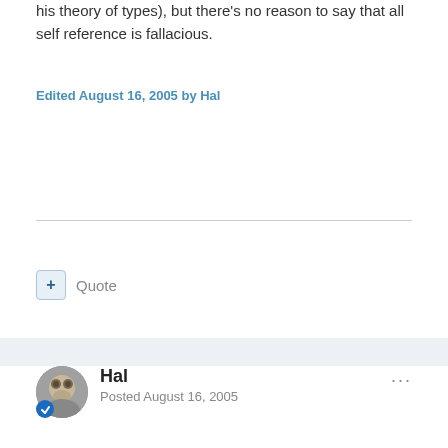his theory of types), but there's no reason to say that all self reference is fallacious.
Edited August 16, 2005 by Hal
Quote
Hal
Posted August 16, 2005
DavidOdden said:
That's more a case of context dropping.
What context was dropped? He started with the axioms of Frege's Grundgesetze and proceded to draw a formal contradiction, with the result that at least one axiom had to be dropped/reformulated.